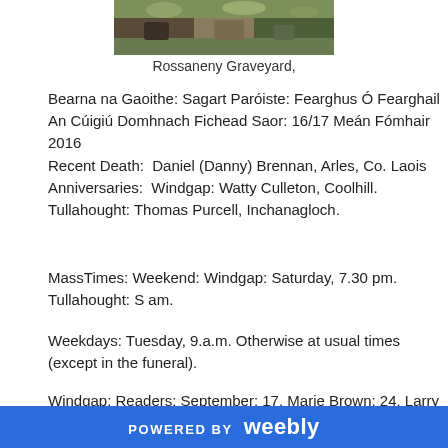[Figure (photo): Rossaneny Graveyard, partial photo at top of page]
Rossaneny Graveyard,
Bearna na Gaoithe: Sagart Paróiste: Fearghus Ó Fearghail An Cúigiú Domhnach Fichead Saor: 16/17 Meán Fómhair 2016
Recent Death:  Daniel (Danny) Brennan, Arles, Co. Laois Anniversaries:  Windgap: Watty Culleton, Coolhill. Tullahought: Thomas Purcell, Inchanagloch.
MassTimes: Weekend: Windgap: Saturday, 7.30 pm. Tullahought: S am.
Weekdays: Tuesday, 9.a.m. Otherwise at usual times (except in the funeral).
Windgap: Readers: September: 17, Marie Brown; 24, Larry O'Shea 1, Sean Foley; 8, Heather O'Brien.
POWERED BY weebly